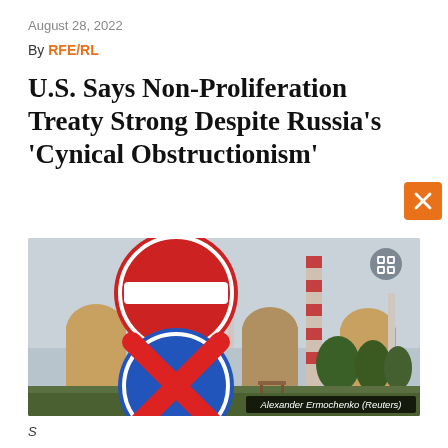August 28, 2022
By RFE/RL
U.S. Says Non-Proliferation Treaty Strong Despite Russia's 'Cynical Obstructionism'
[Figure (photo): Photo of the Zaporizhzhia nuclear power plant in Ukraine, with two road signs in the foreground — a red no-entry sign and a blue-and-red no-stopping sign — and the plant's reactor domes and striped chimney visible in the background. Photo credit: Alexander Ermochenko (Reuters).]
Alexander Ermochenko (Reuters)